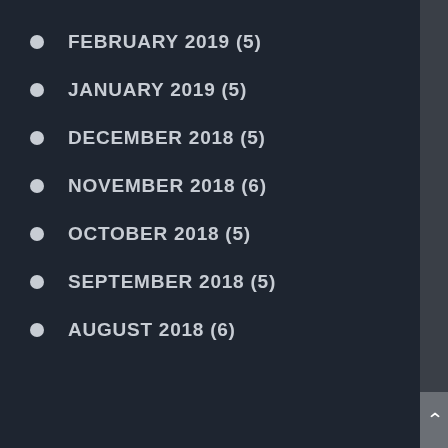FEBRUARY 2019 (5)
JANUARY 2019 (5)
DECEMBER 2018 (5)
NOVEMBER 2018 (6)
OCTOBER 2018 (5)
SEPTEMBER 2018 (5)
AUGUST 2018 (6)